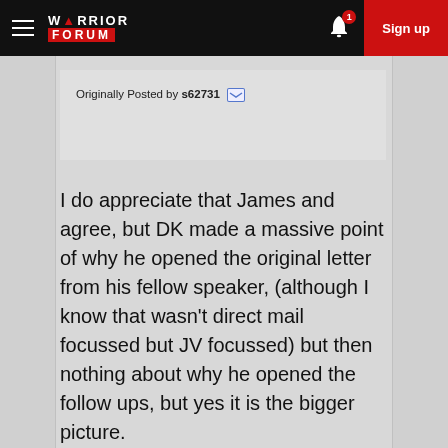Warrior Forum — Sign up
Originally Posted by s62731
I do appreciate that James and agree, but DK made a massive point of why he opened the original letter from his fellow speaker, (although I know that wasn't direct mail focussed but JV focussed) but then nothing about why he opened the follow ups, but yes it is the bigger picture.